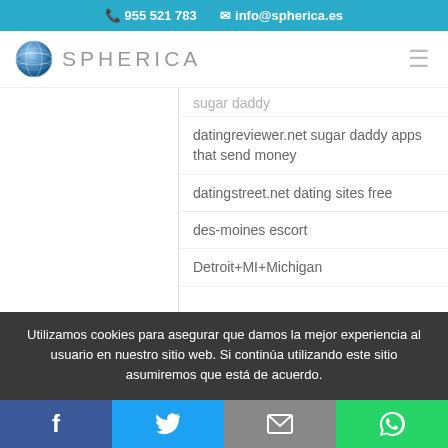955 521 783  info@spherica.es
[Figure (logo): Spherica globe logo with text SPHERICA]
sugar daddy
datingreviewer.net sugar daddy apps that send money
datingstreet.net dating sites free
des-moines escort
Detroit+MI+Michigan hook up site
Utilizamos cookies para asegurar que damos la mejor experiencia al usuario en nuestro sitio web. Si continúa utilizando este sitio asumiremos que está de acuerdo.
Facebook | Twitter | Email | WhatsApp